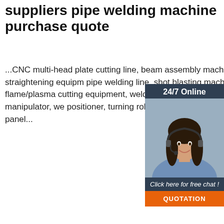suppliers pipe welding machine purchase quote
...CNC multi-head plate cutting line, beam assembly machine, straightening equipment, pipe welding line, shot blasting machine, flame/plasma cutting equipment, welding machinery incl. Welding manipulator, we positioner, turning roll (welding rotator), N wall panel...
[Figure (other): Green 'Get Price' button]
[Figure (other): 24/7 Online chat widget with a woman wearing a headset, showing 'Click here for free chat!' text and orange QUOTATION button]
[Figure (photo): Industrial photo of a pipe welding machine in a factory setting with overhead pipes and red machinery]